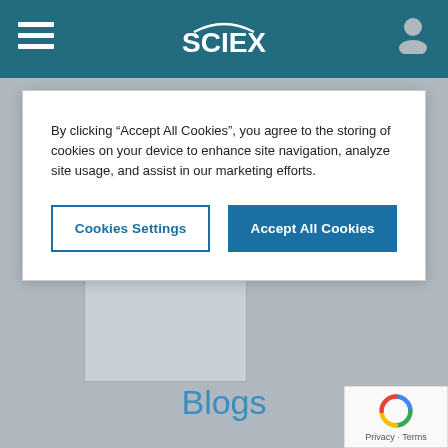[Figure (screenshot): SCIEX website header with teal/dark cyan background, hamburger menu icon on left, SCIEX logo in center, user/person icon on right]
By clicking “Accept All Cookies”, you agree to the storing of cookies on your device to enhance site navigation, analyze site usage, and assist in our marketing efforts.
[Figure (other): Cookies Settings button (outlined) and Accept All Cookies button (filled blue) in a white cookie consent modal]
[Figure (photo): Broken/missing image placeholder with small broken image icon in top-left corner, gray background]
Blogs
[Figure (other): reCAPTCHA privacy badge in bottom right corner with spinning arrows logo and Privacy - Terms text]